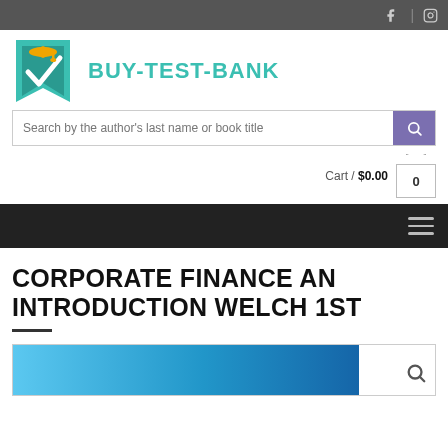BUY-TEST-BANK website header with social icons (Facebook, Instagram)
[Figure (logo): BUY-TEST-BANK logo: teal bookmark icon with graduation cap]
BUY-TEST-BANK
Search by the author's last name or book title
Cart / $0.00  0
CORPORATE FINANCE AN INTRODUCTION WELCH 1ST